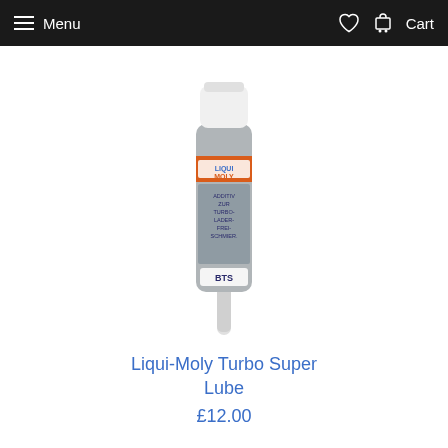Menu   Cart
[Figure (photo): A small tube of Liqui-Moly BTS Turbo Super Lube lubricant additive, with a white cap and orange/blue branding label, on a white background.]
Liqui-Moly Turbo Super Lube
£12.00